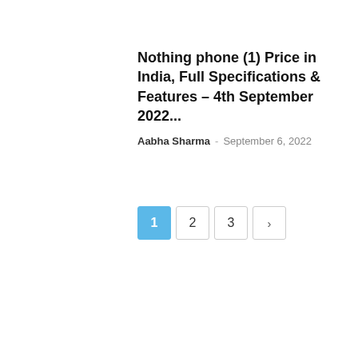Nothing phone (1) Price in India, Full Specifications & Features – 4th September 2022...
Aabha Sharma - September 6, 2022